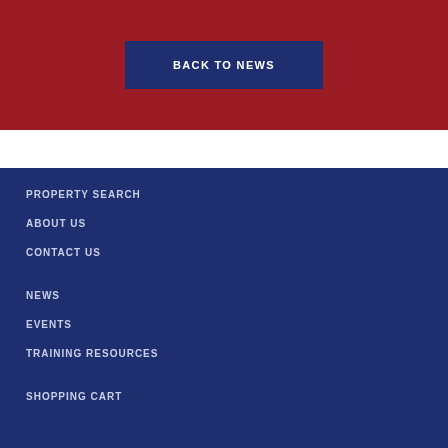BACK TO NEWS
PROPERTY SEARCH
ABOUT US
CONTACT US
NEWS
EVENTS
TRAINING RESOURCES
SHOPPING CART